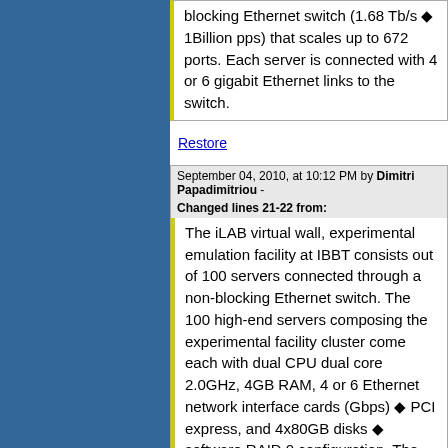blocking Ethernet switch (1.68 Tb/s ◆ 1Billion pps) that scales up to 672 ports. Each server is connected with 4 or 6 gigabit Ethernet links to the switch.
Restore
September 04, 2010, at 10:12 PM by Dimitri Papadimitriou - Changed lines 21-22 from:
The iLAB virtual wall, experimental emulation facility at IBBT consists out of 100 servers connected through a non-blocking Ethernet switch. The 100 high-end servers composing the experimental facility cluster come each with dual CPU dual core 2.0GHz, 4GB RAM, 4 or 6 Ethernet network interface cards (Gbps) ◆ PCI express, and 4x80GB disks ◆ software RAID 0 configuration. The servers are interconnected by a Force10 E1200 non-blocking Ethernet switch (1.68 Tb/s ◆ 1Billion pps) that scales up to 672 ports. Each server is connected with 4 or 6 gigabit Ethernet links to the switch.
to:
The iLAB virtual wall, experimental facility at IBBT consists out of 100 servers connected through a non-blocking Ethernet switch. The 100 high-end servers composing the experimental